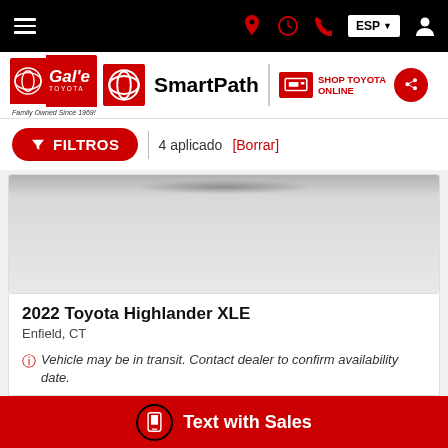Navigation bar with hamburger menu, location, clock, phone, ESP language selector, and user icon
[Figure (logo): Gale Toyota dealership logo with SmartPath branding and Shop Toyota Online link]
FILTROS | 4 aplicado [Borrar]
[Figure (photo): Car image area (partially visible vehicle top) for 2022 Toyota Highlander XLE]
2022 Toyota Highlander XLE
Enfield, CT
Vehicle may be in transit. Contact dealer to confirm availability date.
Text with Sales